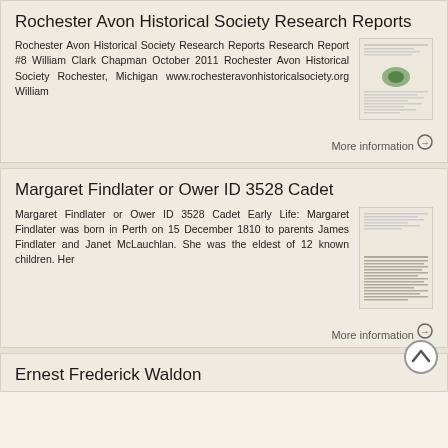Rochester Avon Historical Society Research Reports
Rochester Avon Historical Society Research Reports Research Report #8 William Clark Chapman October 2011 Rochester Avon Historical Society Rochester, Michigan www.rochesteravonhistoricalsociety.org William
More information →
Margaret Findlater or Ower ID 3528 Cadet
Margaret Findlater or Ower ID 3528 Cadet Early Life: Margaret Findlater was born in Perth on 15 December 1810 to parents James Findlater and Janet McLauchlan. She was the eldest of 12 known children. Her
More information →
Ernest Frederick Waldon